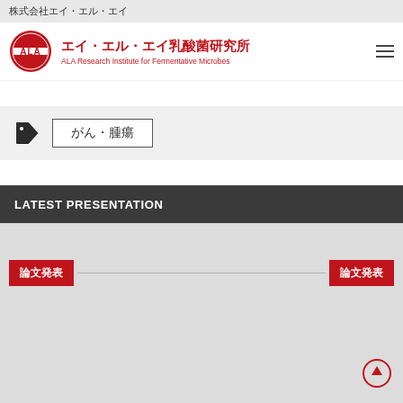株式会社エイ・エル・エイ
エイ・エル・エイ乳酸菌研究所
ALA Research Institute for Fermentative Microbes
がん・腫瘍
LATEST PRESENTATION
論文発表
論文発表